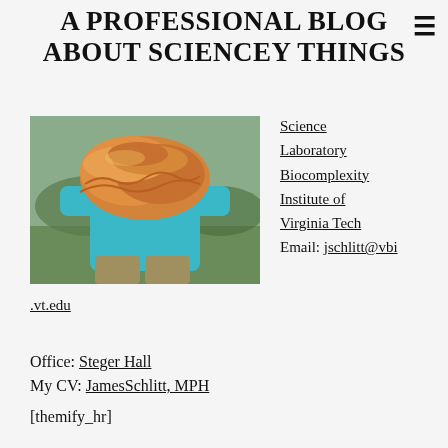A PROFESSIONAL BLOG ABOUT SCIENCEY THINGS
[Figure (photo): Person in a teal/cyan shirt holding a large orange bracket fungus outdoors on grass]
Science
Laboratory
Biocomplexity
Institute of
Virginia Tech
Email: jschlitt@vbi.vt.edu
Office: Steger Hall
My CV: JamesSchlitt, MPH
[themify_hr]